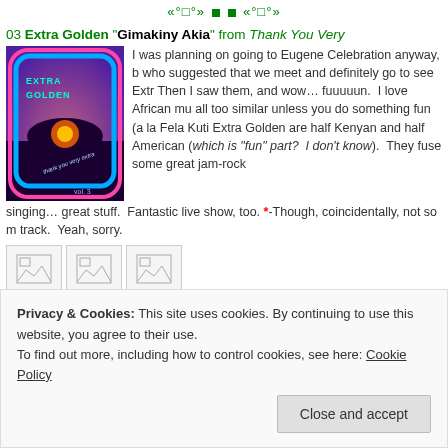«°□°» □ □ «°□°»
03 Extra Golden "Gimakiny Akia" from Thank You Very
I was planning on going to Eugene Celebration anyway, b who suggested that we meet and definitely go to see Extr Then I saw them, and wow… fuuuuun.  I love African mu all too similar unless you do something fun (a la Fela Kuti Extra Golden are half Kenyan and half American (which is fun" part?  I don't know).  They fuse some great jam-rock singing… great stuff.  Fantastic live show, too. *-Though, coincidentally, not so much track.  Yeah, sorry.
[Figure (photo): Album art for Extra Golden - Thank You Very (vol. 3), showing a purple and pink landscape with blue neon border]
[Figure (other): Three image placeholder icons]
«°□°» □ □ «°□°»
04 Ember Swift "Hollowed Bones □□" from Lentic :: □□
Privacy & Cookies: This site uses cookies. By continuing to use this website, you agree to their use. To find out more, including how to control cookies, see here: Cookie Policy
Close and accept